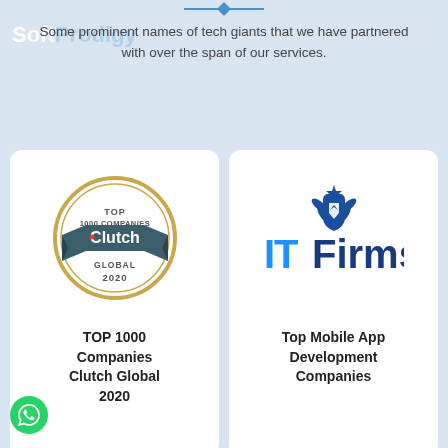SoftProdigy
Some prominent names of tech giants that we have partnered with over the span of our services.
[Figure (logo): Clutch Global Top 1000 Companies 2020 badge — circular gold border with banner ribbon and Clutch logo in center]
TOP 1000 Companies Clutch Global 2020
[Figure (logo): ITFirms logo — blue shield with star and wing motif above ITFirms text in blue]
Top Mobile App Development Companies